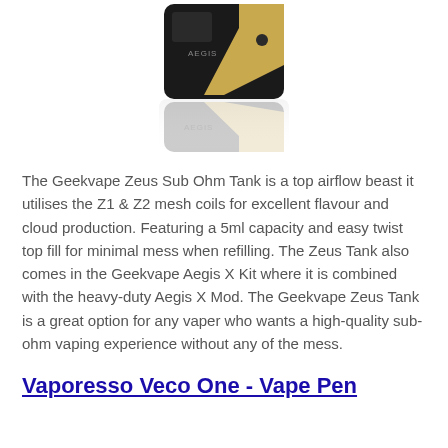[Figure (photo): Product photo of the Geekvape Aegis X vape mod — black device with gold accent stripe, shown at an angle with its reflection below on a white surface.]
The Geekvape Zeus Sub Ohm Tank is a top airflow beast it utilises the Z1 & Z2 mesh coils for excellent flavour and cloud production. Featuring a 5ml capacity and easy twist top fill for minimal mess when refilling. The Zeus Tank also comes in the Geekvape Aegis X Kit where it is combined with the heavy-duty Aegis X Mod. The Geekvape Zeus Tank is a great option for any vaper who wants a high-quality sub-ohm vaping experience without any of the mess.
Vaporesso Veco One - Vape Pen